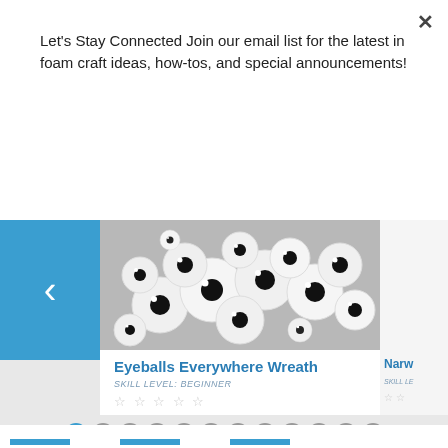Let's Stay Connected Join our email list for the latest in foam craft ideas, how-tos, and special announcements!
Subscribe
[Figure (photo): Black and white photo of a wreath made of googly/eyeball spheres arranged in a circle]
Eyeballs Everywhere Wreath
SKILL LEVEL: BEGINNER
★ ★ ★ ★ ★
Narw...
SKILL LE...